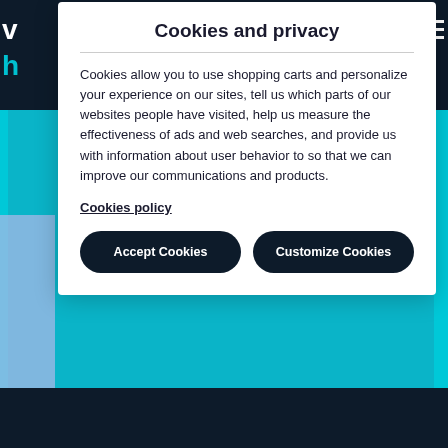Cookies and privacy
Cookies allow you to use shopping carts and personalize your experience on our sites, tell us which parts of our websites people have visited, help us measure the effectiveness of ads and web searches, and provide us with information about user behavior to so that we can improve our communications and products.
Cookies policy
Accept Cookies
Customize Cookies